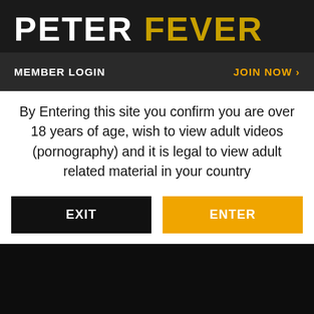PETER FEVER
MEMBER LOGIN    JOIN NOW
By Entering this site you confirm you are over 18 years of age, wish to view adult videos (pornography) and it is legal to view adult related material in your country
EXIT    ENTER